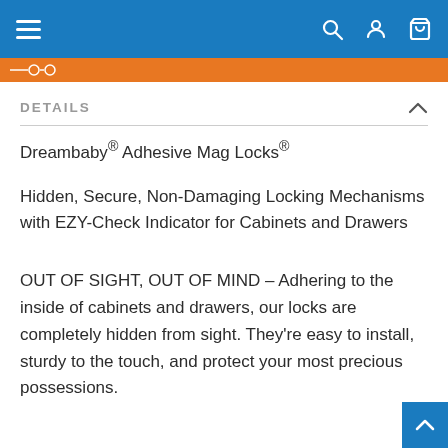Navigation header with hamburger menu and search, account, cart icons
[Figure (screenshot): Orange banner with product image or slider element at top]
DETAILS
Dreambaby® Adhesive Mag Locks®
Hidden, Secure, Non-Damaging Locking Mechanisms with EZY-Check Indicator for Cabinets and Drawers
OUT OF SIGHT, OUT OF MIND – Adhering to the inside of cabinets and drawers, our locks are completely hidden from sight. They're easy to install, sturdy to the touch, and protect your most precious possessions.